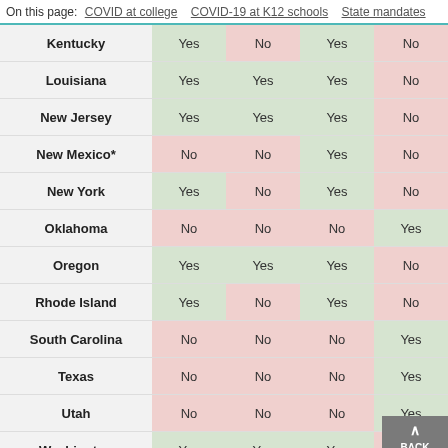On this page: COVID at college   COVID-19 at K12 schools   State mandates
| State | Col1 | Col2 | Col3 | Col4 |
| --- | --- | --- | --- | --- |
| Kentucky | Yes | No | Yes | No |
| Louisiana | Yes | Yes | Yes | No |
| New Jersey | Yes | Yes | Yes | No |
| New Mexico* | No | No | Yes | No |
| New York | Yes | No | Yes | No |
| Oklahoma | No | No | No | Yes |
| Oregon | Yes | Yes | Yes | No |
| Rhode Island | Yes | No | Yes | No |
| South Carolina | No | No | No | Yes |
| Texas | No | No | No | Yes |
| Utah | No | No | No | Yes |
| Washington | Yes | Yes | Yes | No |
| Washington |  |  |  |  |